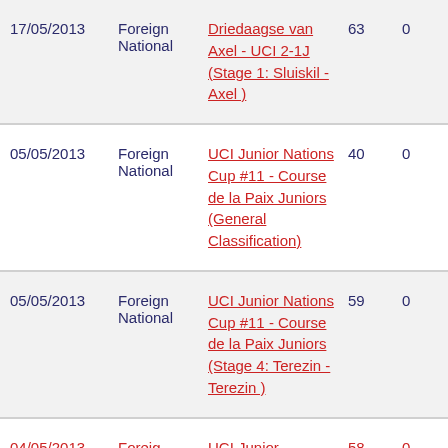| Date | Type | Race | Num | Points |
| --- | --- | --- | --- | --- |
| 17/05/2013 | Foreign National | Driedaagse van Axel - UCI 2-1J (Stage 1: Sluiskil - Axel ) | 63 | 0 |
| 05/05/2013 | Foreign National | UCI Junior Nations Cup #11 - Course de la Paix Juniors (General Classification) | 40 | 0 |
| 05/05/2013 | Foreign National | UCI Junior Nations Cup #11 - Course de la Paix Juniors (Stage 4: Terezin - Terezin ) | 59 | 0 |
| 04/05/2013 | Foreign ... | UCI Junior ... | 58 | 0 |